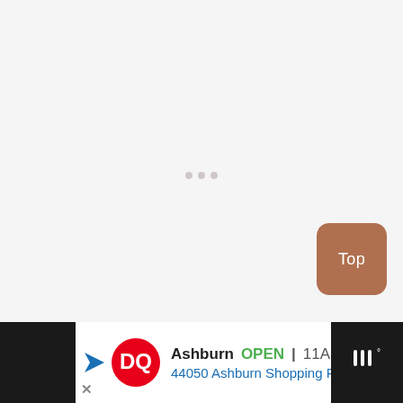[Figure (screenshot): Nearly blank light grey page area with faint loading dots in the center]
Top
[Figure (screenshot): Advertisement bar at bottom: Dairy Queen ad showing Ashburn OPEN 11AM-10PM, 44050 Ashburn Shopping Plz Ste 1..., with DQ logo and navigation arrow icon. Dark panel on right with weather/app icon.]